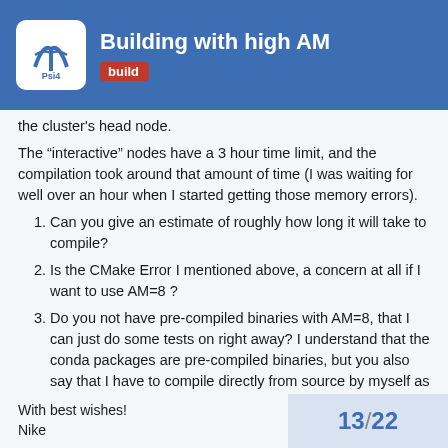Building with high AM — build
the cluster's head node.
The “interactive” nodes have a 3 hour time limit, and the compilation took around that amount of time (I was waiting for well over an hour when I started getting those memory errors).
Can you give an estimate of roughly how long it will take to compile?
Is the CMake Error I mentioned above, a concern at all if I want to use AM=8 ?
Do you not have pre-compiled binaries with AM=8, that I can just do some tests on right away? I understand that the conda packages are pre-compiled binaries, but you also say that I have to compile directly from source by myself as well. So it seems I’m using conda to get the pre-compiled libint with AM=8, then I have to delete the installed Psi4 and compile it from scratch using the libint=8 package that was just downloaded.
With best wishes!
Nike
13 / 22